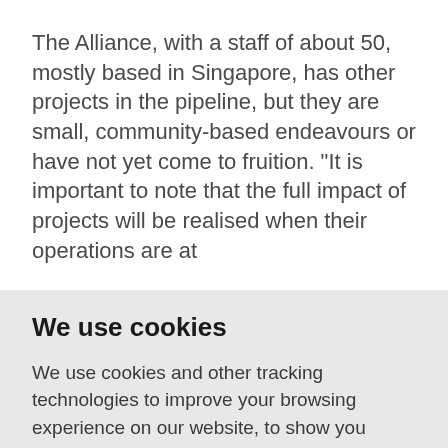The Alliance, with a staff of about 50, mostly based in Singapore, has other projects in the pipeline, but they are small, community-based endeavours or have not yet come to fruition. "It is important to note that the full impact of projects will be realised when their operations are at
We use cookies
We use cookies and other tracking technologies to improve your browsing experience on our website, to show you personalized content and targeted ads, to analyze our website traffic, and to understand where our visitors are coming from.